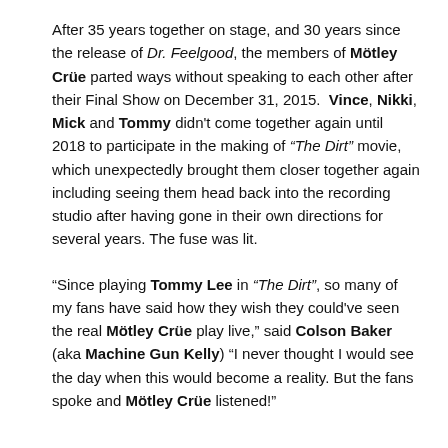After 35 years together on stage, and 30 years since the release of Dr. Feelgood, the members of Mötley Crüe parted ways without speaking to each other after their Final Show on December 31, 2015.  Vince, Nikki, Mick and Tommy didn't come together again until 2018 to participate in the making of “The Dirt” movie, which unexpectedly brought them closer together again including seeing them head back into the recording studio after having gone in their own directions for several years. The fuse was lit.
“Since playing Tommy Lee in “The Dirt”, so many of my fans have said how they wish they could've seen the real Mötley Crüe play live,” said Colson Baker (aka Machine Gun Kelly) “I never thought I would see the day when this would become a reality. But the fans spoke and Mötley Crüe listened!”